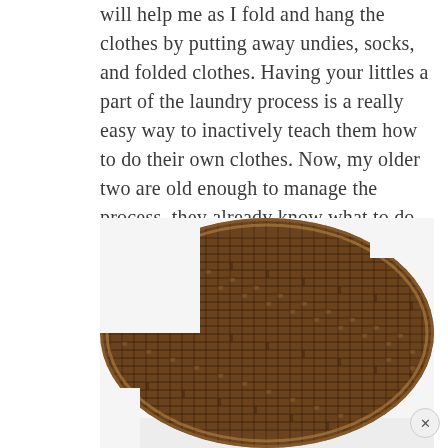will help me as I fold and hang the clothes by putting away undies, socks, and folded clothes. Having your littles a part of the laundry process is a really easy way to inactively teach them how to do their own clothes. Now, my older two are old enough to manage the process, they already know what to do and just need some guidance. It's a win-win!
[Figure (photo): Close-up photograph of a round woven wicker/seagrass basket viewed from above, showing the intricate weave pattern in brown tones, on a white background with a faint reflection below.]